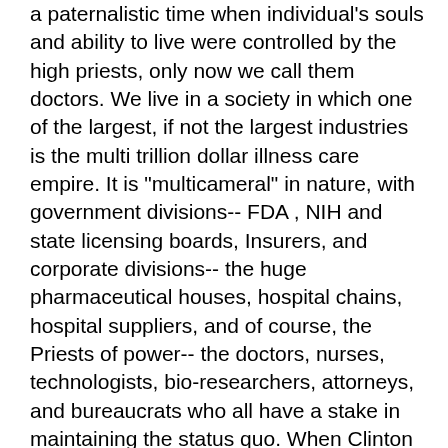a paternalistic time when individual's souls and ability to live were controlled by the high priests, only now we call them doctors. We live in a society in which one of the largest, if not the largest industries is the multi trillion dollar illness care empire. It is "multicameral" in nature, with government divisions-- FDA , NIH and state licensing boards, Insurers, and corporate divisions-- the huge pharmaceutical houses, hospital chains, hospital suppliers, and of course, the Priests of power-- the doctors, nurses, technologists, bio-researchers, attorneys, and bureaucrats who all have a stake in maintaining the status quo. When Clinton tried to take on this empire several years ago, even with the mobilization of the resources of the presidency of the US, he was soundly trounced by an obviously more powerful foe. We now see how the trillion dollar insurance company industry and its agencies are spending millions fighting universal single payer health care. So..... how can we, a small, under-funded .group of idealists, visionaries and dreamers ever